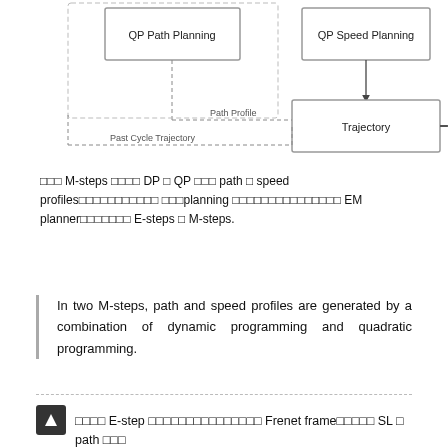[Figure (flowchart): Partial flowchart showing QP Path Planning and QP Speed Planning boxes connected to Trajectory box, which connects to Vehicle Control. Dashed lines show Path Profile and Past Cycle Trajectory feedback.]
□□□ M-steps □□□□ DP □ QP □□□ path □ speed profiles□□□□□□□□□□□ □□□planning □□□□□□□□□□□□□□□ EM planner□□□□□□□ E-steps □ M-steps.
In two M-steps, path and speed profiles are generated by a combination of dynamic programming and quadratic programming.
□□□□ E-step □□□□□□□□□□□□□□□ Frenet frame□□□□□ SL □ path □□□